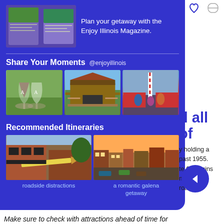[Figure (screenshot): Enjoy Illinois Magazine promotional image with magazine cover and text]
Plan your getaway with the Enjoy Illinois Magazine.
Share Your Moments @enjoyillinois
[Figure (photo): Three photos: wine glasses on grass, covered wooden bridge, festival with candy cane decoration]
Recommended Itineraries
[Figure (photo): Two itinerary photos: roadside distractions scene with pencil sculpture, a romantic Galena getaway street scene]
roadside distractions
a romantic galena getaway
d all of
y holding a past 1955. te 66 begins miles of roadside
Make sure to check with attractions ahead of time for